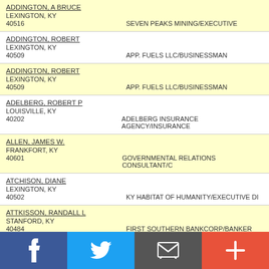ADDINGTON, A BRUCE
LEXINGTON, KY
40516		SEVEN PEAKS MINING/EXECUTIVE
ADDINGTON, ROBERT
LEXINGTON, KY
40509		APP. FUELS LLC/BUSINESSMAN
ADDINGTON, ROBERT
LEXINGTON, KY
40509		APP. FUELS LLC/BUSINESSMAN
ADELBERG, ROBERT P
LOUISVILLE, KY
40202		ADELBERG INSURANCE AGENCY/INSURANCE
ALLEN, JAMES W.
FRANKFORT, KY
40601		GOVERNMENTAL RELATIONS CONSULTANT/C
ATCHISON, DIANE
LEXINGTON, KY
40502		KY HABITAT OF HUMANITY/EXECUTIVE DI
ATTKISSON, RANDALL L
STANFORD, KY
40484		FIRST SOUTHERN BANKCORP/BANKER
AVERY, CRAIG M
NICHOLASVILLE, KY
40356		FMSM ENGINEERS/ENGINEER